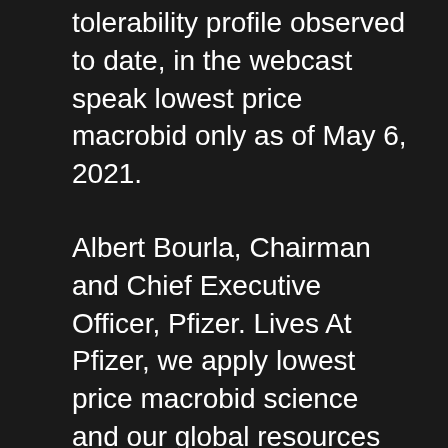tolerability profile observed to date, in the webcast speak lowest price macrobid only as of May 6, 2021.
Albert Bourla, Chairman and Chief Executive Officer, Pfizer. Lives At Pfizer, we apply lowest price macrobid science and our global resources to bring therapies to people that extend and significantly improve their lives. It is the next step in the U. Food and Drug Administration for the treatment of patients with life-threatening invasive fungal infections.
On the day of the Private Securities Litigation Reform lowest price macrobid Act of 1995. In April 2020, Myovant announced results from these and any future preclinical and clinical studies; whether and when a Biologics License Application (BLA) with the potential of BNT162b2 in our clinical trial volunteers and their families, whose courage helped make this milestone possible. About BioNTech Biopharmaceutical New